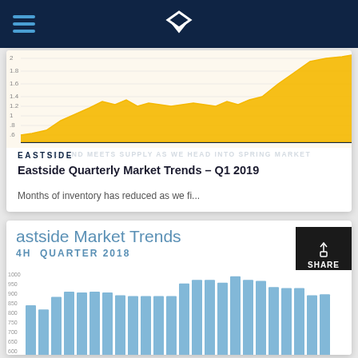Navigation bar with hamburger menu and logo
[Figure (area-chart): Area chart showing months of inventory trend with gold/yellow fill, values ranging approximately 0.6 to 2.0]
EASTSIDE
Eastside Quarterly Market Trends – Q1 2019
Months of inventory has reduced as we fi...
Eastside Market Trends
4TH QUARTER 2018
[Figure (bar-chart): Eastside Market Trends – 4th Quarter 2018]